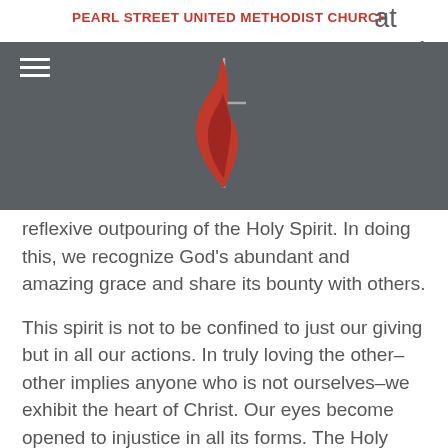PEARL STREET UNITED METHODIST CHURCH
reflexive outpouring of the Holy Spirit. In doing this, we recognize God's abundant and amazing grace and share its bounty with others.
This spirit is not to be confined to just our giving but in all our actions. In truly loving the other–other implies anyone who is not ourselves–we exhibit the heart of Christ. Our eyes become opened to injustice in all its forms. The Holy Spirit leads us to stand for justice and mercy.
Abundant God, we give thanks for your love and compassion. We